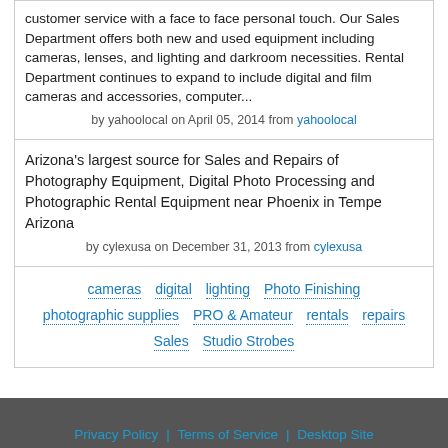customer service with a face to face personal touch. Our Sales Department offers both new and used equipment including cameras, lenses, and lighting and darkroom necessities. Rental Department continues to expand to include digital and film cameras and accessories, computer...
by yahoolocal on April 05, 2014 from yahoolocal
Arizona's largest source for Sales and Repairs of Photography Equipment, Digital Photo Processing and Photographic Rental Equipment near Phoenix in Tempe Arizona
by cylexusa on December 31, 2013 from cylexusa
cameras
digital
lighting
Photo Finishing
photographic supplies
PRO & Amateur
rentals
repairs
Sales
Studio Strobes
Privacy Policy | Terms of Service | Desktop Site